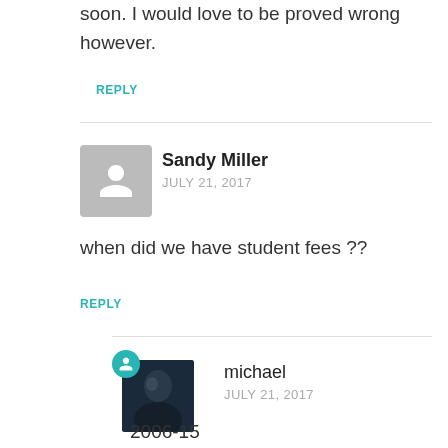soon. I would love to be proved wrong however.
REPLY
[Figure (illustration): Gray placeholder avatar silhouette for Sandy Miller]
Sandy Miller
JULY 21, 2017
when did we have student fees ??
REPLY
[Figure (photo): michael's profile photo — dark image of a person, with teal circular icon overlay containing a person silhouette]
michael
JULY 21, 2017
2006-15